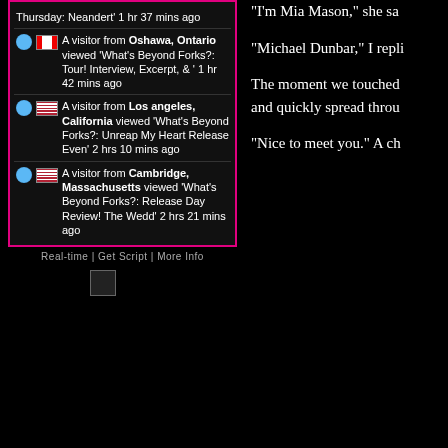Thursday: Neandert' 1 hr 37 mins ago
A visitor from Oshawa, Ontario viewed 'What's Beyond Forks?: Tour! Interview, Excerpt, & ' 1 hr 42 mins ago
A visitor from Los angeles, California viewed 'What's Beyond Forks?: Unreap My Heart Release Even' 2 hrs 10 mins ago
A visitor from Cambridge, Massachusetts viewed 'What's Beyond Forks?: Release Day Review! The Wedd' 2 hrs 21 mins ago
Real-time | Get Script | More Info
[Figure (other): Broken image placeholder icon]
“I’m Mia Mason,” she sa
“Michael Dunbar,” I repli
The moment we touched and quickly spread throu
“Nice to meet you.” A ch